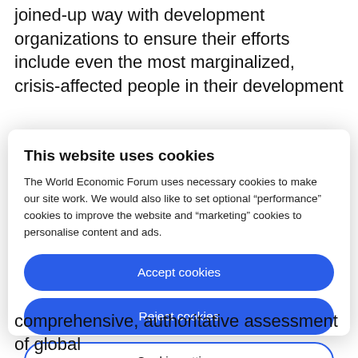joined-up way with development organizations to ensure their efforts include even the most marginalized, crisis-affected people in their development
This website uses cookies
The World Economic Forum uses necessary cookies to make our site work. We would also like to set optional “performance” cookies to improve the website and “marketing” cookies to personalise content and ads.
Accept cookies
Reject cookies
Cookie settings
comprehensive, authoritative assessment of global